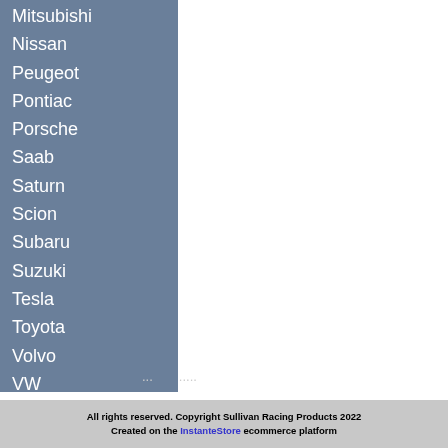Mitsubishi
Nissan
Peugeot
Pontiac
Porsche
Saab
Saturn
Scion
Subaru
Suzuki
Tesla
Toyota
Volvo
VW
Heel Guards
PEDAL OPTIONS
All rights reserved. Copyright Sullivan Racing Products 2022
Created on the InstanteStore ecommerce platform